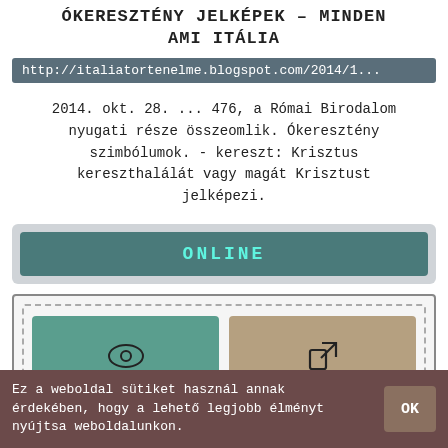ÓKERESZTÉNY JELKÉPEK – MINDEN AMI ITÁLIA
http://italiatortenelme.blogspot.com/2014/1...
2014. okt. 28. ... 476, a Római Birodalom nyugati része összeomlik. Ókeresztény szimbólumok. - kereszt: Krisztus kereszthalálát vagy magát Krisztust jelképezi.
[Figure (screenshot): ONLINE button in teal/dark green color]
[Figure (screenshot): Two buttons: teal button with eye icon, tan/brown button with external link icon]
Ez a weboldal sütiket használ annak érdekében, hogy a lehető legjobb élményt nyújtsa weboldalunkon.